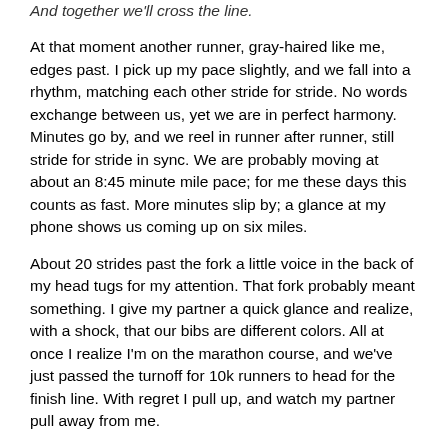And together we'll cross the line.
At that moment another runner, gray-haired like me, edges past. I pick up my pace slightly, and we fall into a rhythm, matching each other stride for stride. No words exchange between us, yet we are in perfect harmony. Minutes go by, and we reel in runner after runner, still stride for stride in sync. We are probably moving at about an 8:45 minute mile pace; for me these days this counts as fast. More minutes slip by; a glance at my phone shows us coming up on six miles.
About 20 strides past the fork a little voice in the back of my head tugs for my attention. That fork probably meant something. I give my partner a quick glance and realize, with a shock, that our bibs are different colors. All at once I realize I'm on the marathon course, and we've just passed the turnoff for 10k runners to head for the finish line. With regret I pull up, and watch my partner pull away from me.
I make a quick about face, re-focus, and take off for the finish line. Up the foot bridge, over the railroad tracks, then down the far side of the bridge, nothing but descent between me and the finish. I hit the finish line at a dead sprint, finishing time 57 minutes and change (it will prove to be 57:42). Top half of my age group, top third overall, and only 18 seconds off the time for my November 10K, which was in turn the fastest 10K I'd run in three years.
Rewind to 5:30 that morning, waking up in my hotel room. I